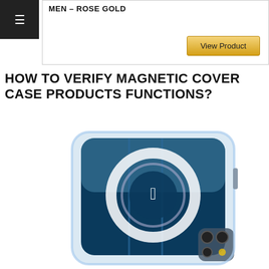MEN – ROSE GOLD
[Figure (screenshot): View Product button with golden/yellow background]
[Figure (other): Hamburger menu icon (three horizontal lines) on dark background]
HOW TO VERIFY MAGNETIC COVER CASE PRODUCTS FUNCTIONS?
[Figure (photo): Clear transparent iPhone magnetic case showing MagSafe ring and Apple logo, viewed from back, with blue tinted phone visible through the case]